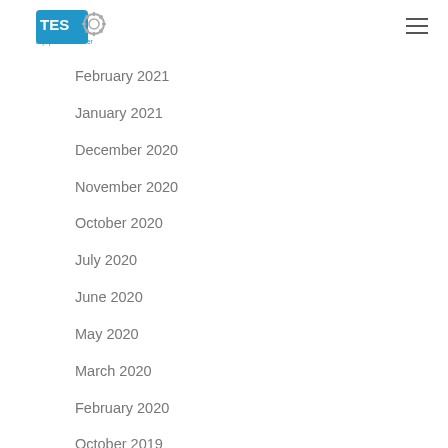TES Equipment Transfer logo and navigation
February 2021
January 2021
December 2020
November 2020
October 2020
July 2020
June 2020
May 2020
March 2020
February 2020
October 2019
September 2019